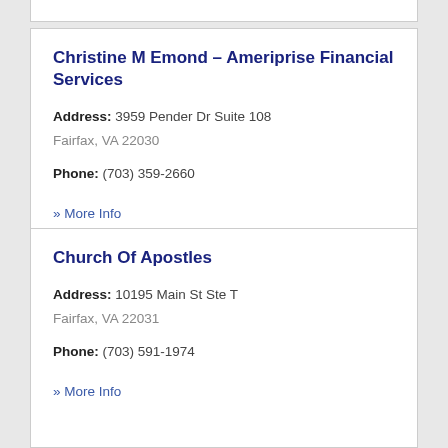Christine M Emond - Ameriprise Financial Services
Address: 3959 Pender Dr Suite 108 Fairfax, VA 22030
Phone: (703) 359-2660
» More Info
Church Of Apostles
Address: 10195 Main St Ste T Fairfax, VA 22031
Phone: (703) 591-1974
» More Info